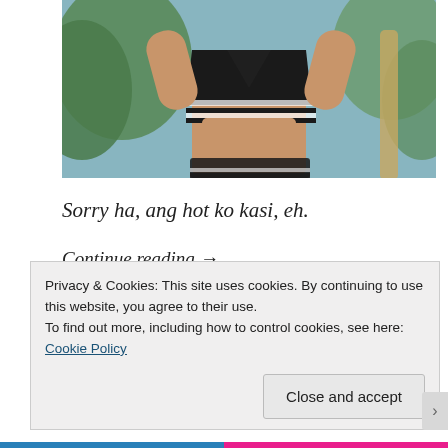[Figure (photo): Photo of a woman in a black sports bra with white stripes, cropped at torso, outdoors with tropical foliage background]
Sorry ha, ang hot ko kasi, eh.
Continue reading →
Posted in Music, Others
Tagged Aegis, Barbie Almalbis, Cueshe, Michael V., Nadine Lustre, Rivermaya
Privacy & Cookies: This site uses cookies. By continuing to use this website, you agree to their use.
To find out more, including how to control cookies, see here:
Cookie Policy
Close and accept